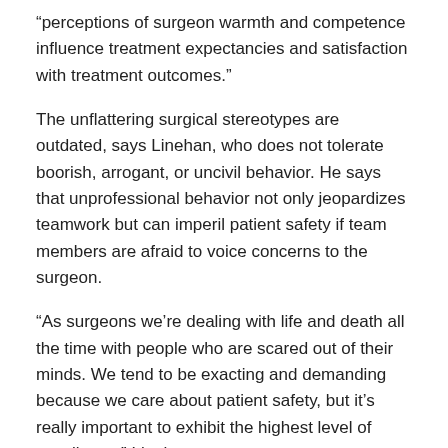“perceptions of surgeon warmth and competence influence treatment expectancies and satisfaction with treatment outcomes.”
The unflattering surgical stereotypes are outdated, says Linehan, who does not tolerate boorish, arrogant, or uncivil behavior. He says that unprofessional behavior not only jeopardizes teamwork but can imperil patient safety if team members are afraid to voice concerns to the surgeon.
“As surgeons we’re dealing with life and death all the time with people who are scared out of their minds. We tend to be exacting and demanding because we care about patient safety, but it’s really important to exhibit the highest level of excellence,” Linehan says.
The Surgeon, the Psychologist, and the Patient
The wellness revolution may seem like a bohemian plot to